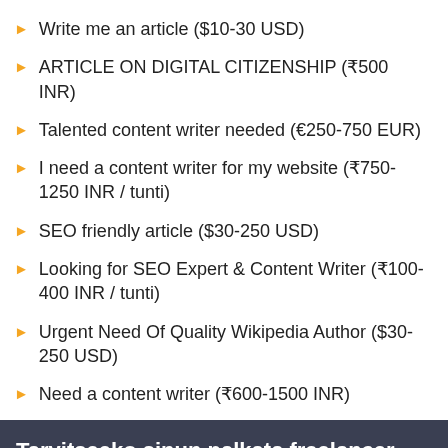Write me an article ($10-30 USD)
ARTICLE ON DIGITAL CITIZENSHIP (₹500 INR)
Talented content writer needed (€250-750 EUR)
I need a content writer for my website (₹750-1250 INR / tunti)
SEO friendly article ($30-250 USD)
Looking for SEO Expert & Content Writer (₹100-400 INR / tunti)
Urgent Need Of Quality Wikipedia Author ($30-250 USD)
Need a content writer (₹600-1500 INR)
Tarvitseeko sinun palkata freelancer työhön✕
Ilmoita projekti